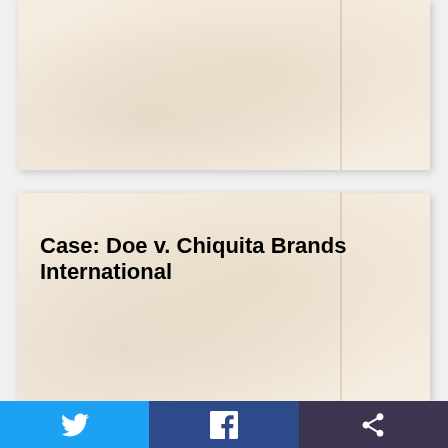[Figure (other): Blank parchment-textured document card (top), partially visible, cream/beige color with subtle texture and fold line]
Case: Doe v. Chiquita Brands International
[Figure (other): Social media sharing bar at bottom with Twitter (blue), Facebook (dark blue), and Share (dark purple) buttons with white icons]